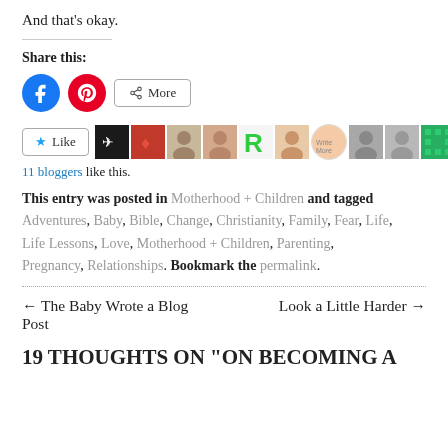And that’s okay.
Share this:
[Figure (infographic): Social share buttons: Facebook (blue circle), Pinterest (red circle), More (bordered button with share icon)]
[Figure (infographic): Like button with star icon, followed by a row of 9 blogger avatar thumbnails]
11 bloggers like this.
This entry was posted in Motherhood + Children and tagged Adventures, Baby, Bible, Change, Christianity, Family, Fear, Life, Life Lessons, Love, Motherhood + Children, Parenting, Pregnancy, Relationships. Bookmark the permalink.
← The Baby Wrote a Blog Post
Look a Little Harder →
19 THOUGHTS ON “ON BECOMING A